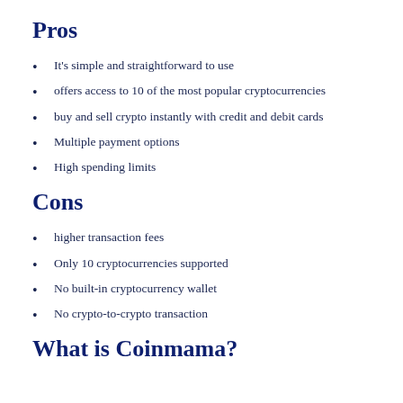Pros
It's simple and straightforward to use
offers access to 10 of the most popular cryptocurrencies
buy and sell crypto instantly with credit and debit cards
Multiple payment options
High spending limits
Cons
higher transaction fees
Only 10 cryptocurrencies supported
No built-in cryptocurrency wallet
No crypto-to-crypto transaction
What is Coinmama?